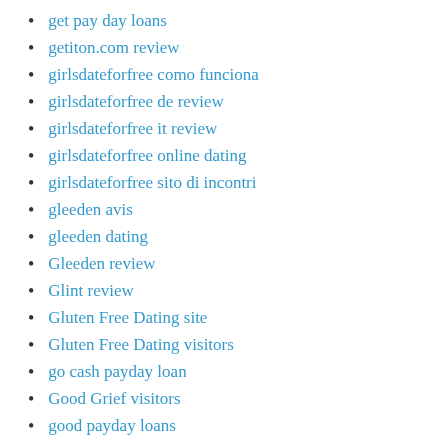get pay day loans
getiton.com review
girlsdateforfree como funciona
girlsdateforfree de review
girlsdateforfree it review
girlsdateforfree online dating
girlsdateforfree sito di incontri
gleeden avis
gleeden dating
Gleeden review
Glint review
Gluten Free Dating site
Gluten Free Dating visitors
go cash payday loan
Good Grief visitors
good payday loans